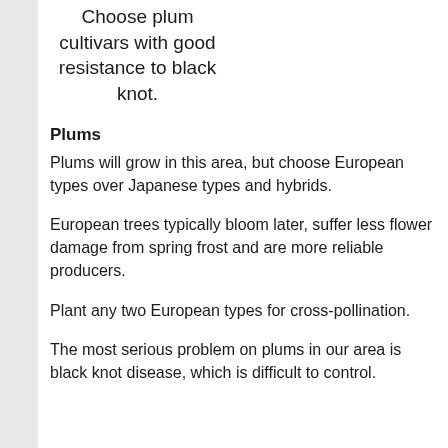Choose plum cultivars with good resistance to black knot.
Plums
Plums will grow in this area, but choose European types over Japanese types and hybrids.
European trees typically bloom later, suffer less flower damage from spring frost and are more reliable producers.
Plant any two European types for cross-pollination.
The most serious problem on plums in our area is black knot disease, which is difficult to control.